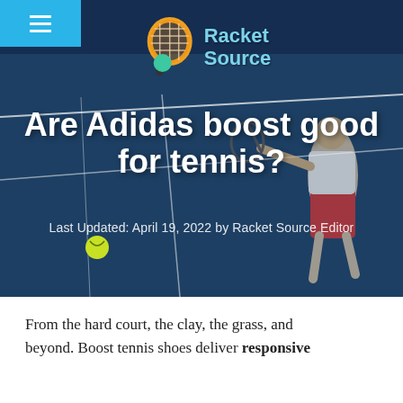[Figure (photo): Hero image of a tennis court with a player hitting the ball. Dark blue court surface with white lines visible. Overlay with dark tint.]
Are Adidas boost good for tennis?
Last Updated: April 19, 2022 by Racket Source Editor
From the hard court, the clay, the grass, and beyond. Boost tennis shoes deliver responsive